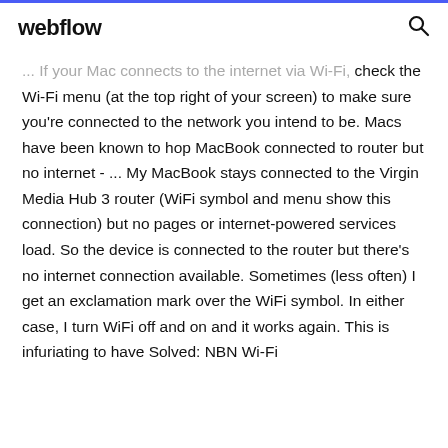webflow
... If your Mac connects to the internet via Wi-Fi, check the Wi-Fi menu (at the top right of your screen) to make sure you’re connected to the network you intend to be. Macs have been known to hop MacBook connected to router but no internet - ... My MacBook stays connected to the Virgin Media Hub 3 router (WiFi symbol and menu show this connection) but no pages or internet-powered services load. So the device is connected to the router but there’s no internet connection available. Sometimes (less often) I get an exclamation mark over the WiFi symbol. In either case, I turn WiFi off and on and it works again. This is infuriating to have Solved: NBN Wi-Fi